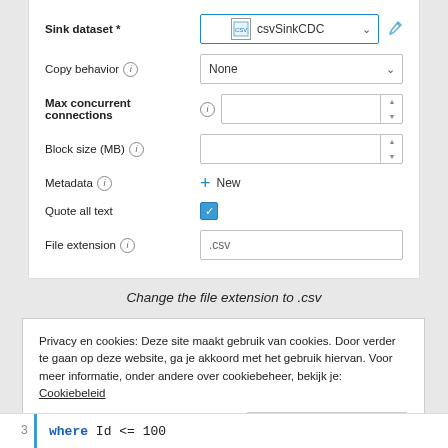[Figure (screenshot): Form UI panel showing dataset configuration fields: Sink dataset (csvSinkCDC), Copy behavior (None), Max concurrent connections (empty spinner), Block size (MB) (empty spinner), Metadata (+ New button), Quote all text (checked blue checkbox), File extension (.csv input). Blue border on Sink dataset field. Edit pencil icon on right.]
Change the file extension to .csv
Privacy en cookies: Deze site maakt gebruik van cookies. Door verder te gaan op deze website, ga je akkoord met het gebruik hiervan. Voor meer informatie, onder andere over cookiebeheer, bekijk je: Cookiebeleid
Sluiten en bevestigen
3    where Id <= 100